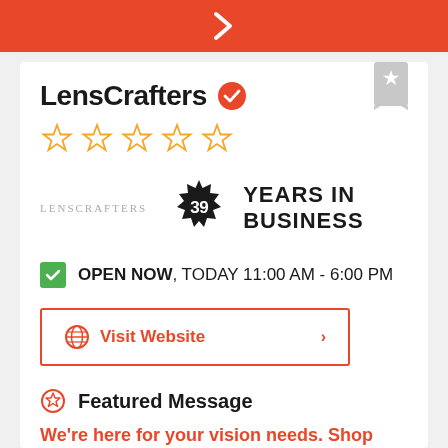[Figure (other): Orange navigation bar with white right arrow chevron]
LensCrafters
[Figure (other): Five empty gold star rating icons]
[Figure (other): LensCrafters logo text in gray, next to a black starburst badge with '39' and 'YEARS IN BUSINESS' label]
OPEN NOW, TODAY 11:00 AM - 6:00 PM
Visit Website
Featured Message
We're here for your vision needs. Shop Eyeglasses